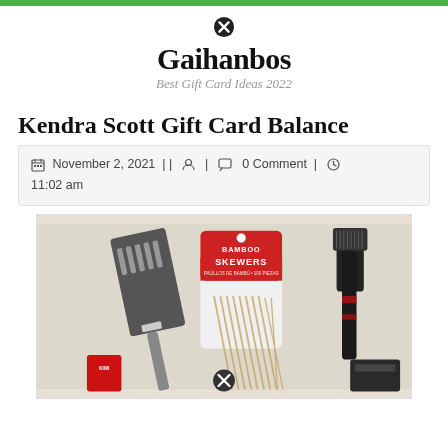Gaihanbos — Best Gift Card Ideas 2022
Kendra Scott Gift Card Balance
November 2, 2021 || [user icon] | [comment icon] 0 Comment | [clock icon] 11:02 am
[Figure (photo): Photo of kitchen/BBQ items including a spatula, a package of Bamboo Skewers (100 pieces), a grill brush, and other items on a light surface.]